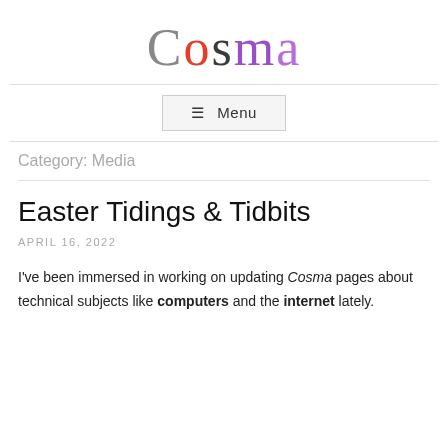[Figure (logo): Cosma logo with colorful letters: C in gray, o in red, s in dark gray, m in purple, a in purple]
≡ Menu
Category: Media
Easter Tidings & Tidbits
APRIL 16, 2022
I've been immersed in working on updating Cosma pages about technical subjects like computers and the internet lately.